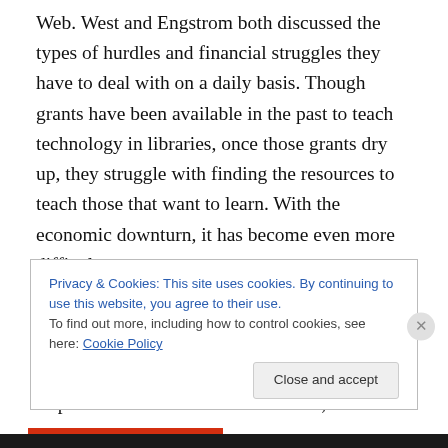Web. West and Engstrom both discussed the types of hurdles and financial struggles they have to deal with on a daily basis. Though grants have been available in the past to teach technology in libraries, once those grants dry up, they struggle with finding the resources to teach those that want to learn. With the economic downturn, it has become even more difficult.
They also discussed how important usability is for those who don't have regular access to technology. Though the admitted Internet Explorer is not the best web browser, it is
Privacy & Cookies: This site uses cookies. By continuing to use this website, you agree to their use.
To find out more, including how to control cookies, see here: Cookie Policy